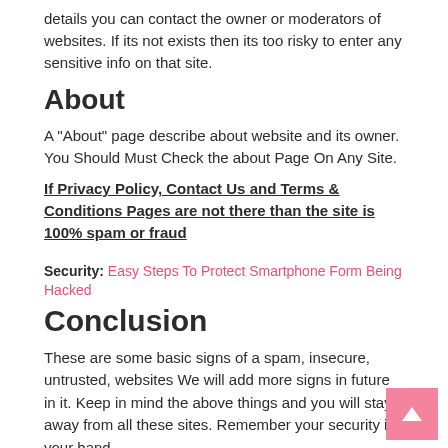details you can contact the owner or moderators of websites. If its not exists then its too risky to enter any sensitive info on that site.
About
A "About" page describe about website and its owner. You Should Must Check the about Page On Any Site.
If Privacy Policy, Contact Us and Terms & Conditions Pages are not there than the site is 100% spam or fraud
Security: Easy Steps To Protect Smartphone Form Being Hacked
Conclusion
These are some basic signs of a spam, insecure, untrusted, websites We will add more signs in future in it. Keep in mind the above things and you will stay away from all these sites. Remember your security in your hand.
Share this article with your friends